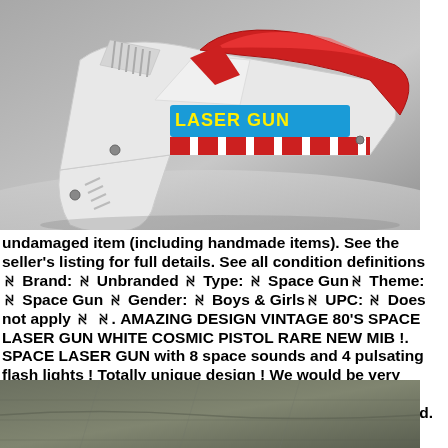[Figure (photo): White plastic toy space laser gun with red translucent barrel panel and a 'LASER GUN' label in yellow text on a blue background with red and white stripes. Photographed on a gray background.]
undamaged item (including handmade items). See the seller's listing for full details. See all condition definitions ꋊ Brand: ꋊ Unbranded ꋊ Type: ꋊ Space Gunꋊ Theme: ꋊ Space Gun ꋊ Gender: ꋊ Boys & Girlsꋊ UPC: ꋊ Does not apply ꋊ ꋊ. AMAZING DESIGN VINTAGE 80'S SPACE LASER GUN WHITE COSMIC PISTOL RARE NEW MIB !. SPACE LASER GUN with 8 space sounds and 4 pulsating flash lights ! Totally unique design ! We would be very happy to help out and discuss any concern you may have!. Condition:ꋊ New: A brand-new. unopened, unused.
[Figure (photo): Dark gray/olive colored fabric or surface, partially visible at the bottom of the page.]